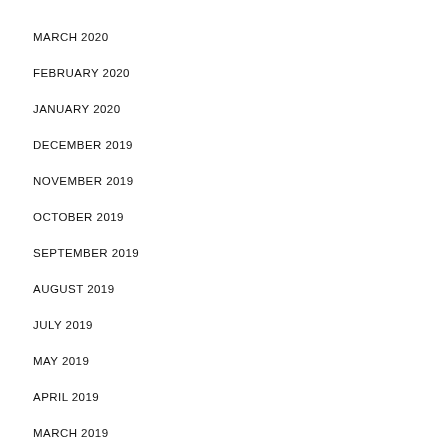MARCH 2020
FEBRUARY 2020
JANUARY 2020
DECEMBER 2019
NOVEMBER 2019
OCTOBER 2019
SEPTEMBER 2019
AUGUST 2019
JULY 2019
MAY 2019
APRIL 2019
MARCH 2019
FEBRUARY 2019
JANUARY 2019